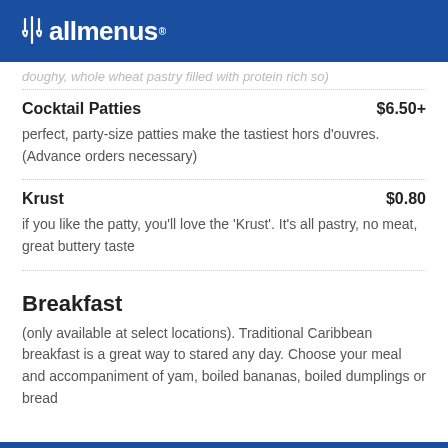allmenus
doughy, whole wheat pastry filled with protein rich so)
Cocktail Patties $6.50+
perfect, party-size patties make the tastiest hors d'ouvres. (Advance orders necessary)
Krust $0.80
if you like the patty, you'll love the 'Krust'. It's all pastry, no meat, great buttery taste
Breakfast
(only available at select locations). Traditional Caribbean breakfast is a great way to stared any day. Choose your meal and accompaniment of yam, boiled bananas, boiled dumplings or bread